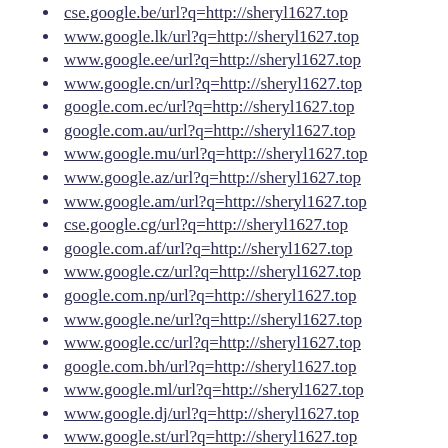cse.google.be/url?q=http://sheryl1627.top
www.google.lk/url?q=http://sheryl1627.top
www.google.ee/url?q=http://sheryl1627.top
www.google.cn/url?q=http://sheryl1627.top
google.com.ec/url?q=http://sheryl1627.top
google.com.au/url?q=http://sheryl1627.top
www.google.mu/url?q=http://sheryl1627.top
www.google.az/url?q=http://sheryl1627.top
www.google.am/url?q=http://sheryl1627.top
cse.google.cg/url?q=http://sheryl1627.top
google.com.af/url?q=http://sheryl1627.top
www.google.cz/url?q=http://sheryl1627.top
google.com.np/url?q=http://sheryl1627.top
www.google.ne/url?q=http://sheryl1627.top
www.google.cc/url?q=http://sheryl1627.top
google.com.bh/url?q=http://sheryl1627.top
www.google.ml/url?q=http://sheryl1627.top
www.google.dj/url?q=http://sheryl1627.top
www.google.st/url?q=http://sheryl1627.top